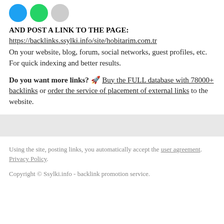[Figure (illustration): Three circular icon buttons: blue (Twitter-like), green (WhatsApp-like), gray (unknown)]
AND POST A LINK TO THE PAGE:
https://backlinks.ssylki.info/site/hobitarim.com.tr
On your website, blog, forum, social networks, guest profiles, etc. For quick indexing and better results.
Do you want more links? 🚀 Buy the FULL database with 78000+ backlinks or order the service of placement of external links to the website.
Using the site, posting links, you automatically accept the user agreement. Privacy Policy.
Copyright © Ssylki.info - backlink promotion service.